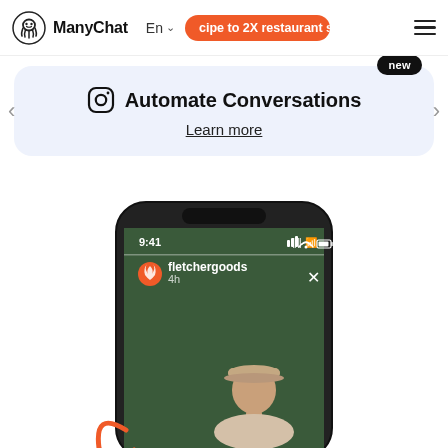ManyChat  En  cipe to 2X restaurant so
[Figure (screenshot): Promotional banner card with 'new' badge, Instagram icon, heading 'Automate Conversations', and 'Learn more' link with left/right navigation arrows, on a light blue-grey background]
[Figure (screenshot): iPhone mockup showing an Instagram story from user 'fletchergoods' posted 4h ago, featuring a woman wearing a beige cap outdoors with trees in background. An orange illustrated arrow/loop element appears in the lower-left corner of the phone screen.]